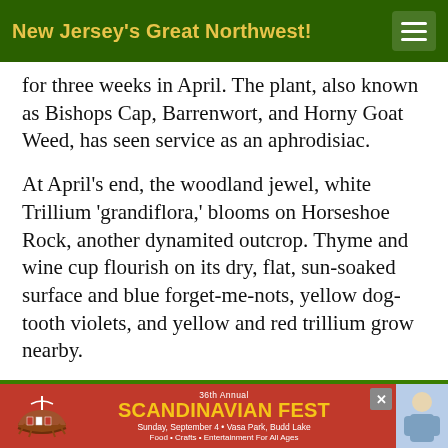New Jersey's Great Northwest!
for three weeks in April. The plant, also known as Bishops Cap, Barrenwort, and Horny Goat Weed, has seen service as an aphrodisiac.
At April's end, the woodland jewel, white Trillium 'grandiflora,' blooms on Horseshoe Rock, another dynamited outcrop. Thyme and wine cup flourish on its dry, flat, sun-soaked surface and blue forget-me-nots, yellow dog-tooth violets, and yellow and red trillium grow nearby.
When private seed exchanges resumed after World War II, plant hunters brought back seeds from groves of Dawn redwood found in China. Long thought to be extinct, they were nurtured into
[Figure (infographic): 36th Annual Scandinavian Fest advertisement banner. Sunday, September 4 • Vasa Park, Budd Lake. Food • Crafts • Entertainment For All Ages. Red background with yellow text and Viking ship logo.]